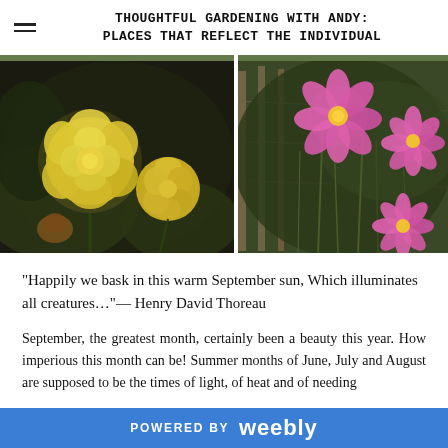THOUGHTFUL GARDENING WITH ANDY: PLACES THAT REFLECT THE INDIVIDUAL
[Figure (photo): Two yellow roses close-up on dark background]
[Figure (photo): Pink cosmos flowers and greenery near a wooden fence]
“Happily we bask in this warm September sun, Which illuminates all creatures…”— Henry David Thoreau
September, the greatest month, certainly been a beauty this year. How imperious this month can be! Summer months of June, July and August are supposed to be the times of light, of heat and of needing
POWERED BY weebly